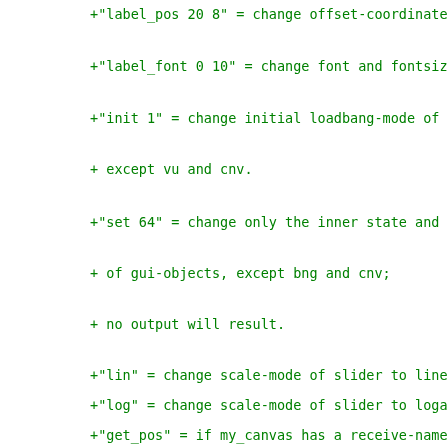+"label_pos 20 8" = change offset-coordinates of la
+"label_font 0 10" = change font and fontsize of la
+"init 1" = change initial loadbang-mode of gui-obj
+              except vu and cnv.
+"set 64" = change only the inner state and display
+              of gui-objects, except bng and cnv;
+              no output will result.
+"lin" = change scale-mode of slider to linear.
+"log" = change scale-mode of slider to logarithmic
+"get_pos" = if my_canvas has a receive-name and a